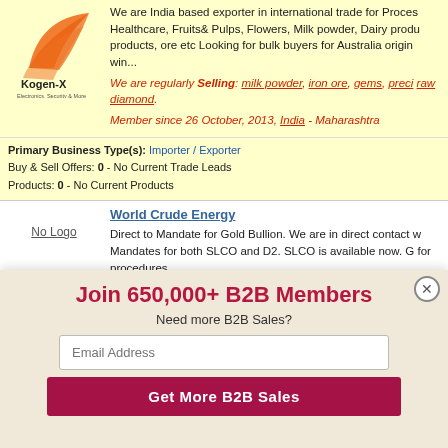[Figure (logo): Kogen-X company logo with orange swoosh design and tagline Electronics, Security & More]
We are India based exporter in international trade for Process & Healthcare, Fruits& Pulps, Flowers, Milk powder, Dairy products, ore etc Looking for bulk buyers for Australia origin win...
We are regularly Selling: milk powder, iron ore, gems, precious, raw diamond.
Member since 26 October, 2013, India - Maharashtra
Primary Business Type(s): Importer / Exporter
Buy & Sell Offers: 0 - No Current Trade Leads
Products: 0 - No Current Products
No Logo
World Crude Energy
Direct to Mandate for Gold Bullion. We are in direct contact with Mandates for both SLCO and D2. SLCO is available now. Go for procedures.
Join 650,000+ B2B Members
Need more B2B Sales?
Email Address
Get More B2B Sales